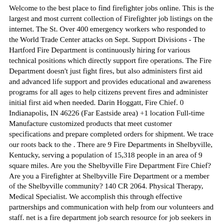Welcome to the best place to find firefighter jobs online. This is the largest and most current collection of Firefighter job listings on the internet. The St. Over 400 emergency workers who responded to the World Trade Center attacks on Sept. Support Divisions - The Hartford Fire Department is continuously hiring for various technical positions which directly support fire operations. The Fire Department doesn't just fight fires, but also administers first aid and advanced life support and provides educational and awareness programs for all ages to help citizens prevent fires and administer initial first aid when needed. Darin Hoggatt, Fire Chief. 0 Indianapolis, IN 46226 (Far Eastside area) +1 location Full-time Manufacture customized products that meet customer specifications and prepare completed orders for shipment. We trace our roots back to the . There are 9 Fire Departments in Shelbyville, Kentucky, serving a population of 15,318 people in an area of 9 square miles. Are you the Shelbyville Fire Department Fire Chief? Are you a Firefighter at Shelbyville Fire Department or a member of the Shelbyville community? 140 CR 2064. Physical Therapy, Medical Specialist. We accomplish this through effective partnerships and communication with help from our volunteers and staff. net is a fire department job search resource for job seekers in Indiana. In addition to the previously mentioned steps, the Fishers Police Department offers additional incentive pay for Detective, Dive Team, Emergency Response Team, Evidence Technician, Field . T. ". 911 Emergency 865. FIRST YEAR FIREFIGHTER PAY: $50,911. The City of Franklin is dedicated to providing equal